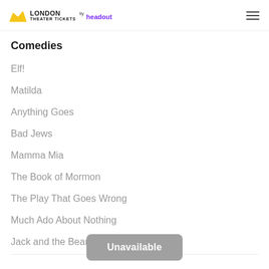LONDON THEATER TICKETS by headout
Comedies
Elf!
Matilda
Anything Goes
Bad Jews
Mamma Mia
The Book of Mormon
The Play That Goes Wrong
Much Ado About Nothing
Jack and the Beanstalk
Unavailable